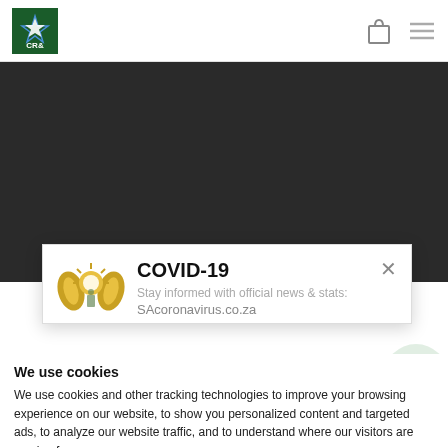[Figure (logo): CR&S logo — green square with white star and letters C R & in blue/white]
[Figure (illustration): Shopping bag icon and hamburger menu icon in grey]
[Figure (photo): Dark hero banner image area (dark grey/black background)]
Next Post
[Figure (illustration): COVID-19 popup overlay with South African government coat of arms logo (golden wings, protea)]
COVID-19
Stay informed with official news & stats:
SAcoronavirus.co.za
We use cookies
We use cookies and other tracking technologies to improve your browsing experience on our website, to show you personalized content and targeted ads, to analyze our website traffic, and to understand where our visitors are coming from.
I agree